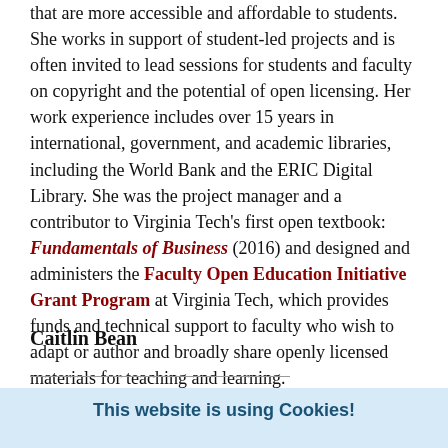that are more accessible and affordable to students. She works in support of student-led projects and is often invited to lead sessions for students and faculty on copyright and the potential of open licensing. Her work experience includes over 15 years in international, government, and academic libraries, including the World Bank and the ERIC Digital Library. She was the project manager and a contributor to Virginia Tech's first open textbook: Fundamentals of Business (2016) and designed and administers the Faculty Open Education Initiative Grant Program at Virginia Tech, which provides funds and technical support to faculty who wish to adapt or author and broadly share openly licensed materials for teaching and learning.
Caitlin Bean
This website is using Cookies!